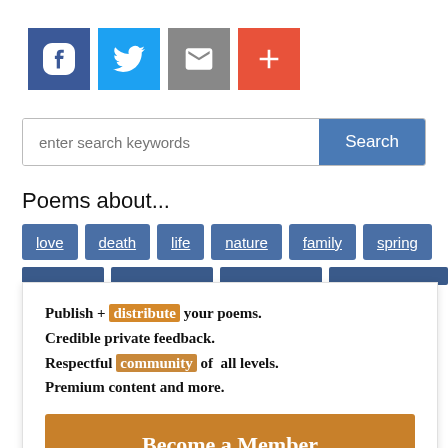[Figure (other): Social sharing buttons: Facebook (blue), Twitter (light blue), Email (gray), Plus/More (orange-red)]
[Figure (other): Search bar with placeholder 'enter search keywords' and a blue 'Search' button]
Poems about...
[Figure (other): Tag buttons: love, death, life, nature, family, spring (all dark blue with underline) plus a second row of partial tag bars]
Publish + distribute your poems.
Credible private feedback.
Respectful community of all levels.
Premium content and more.
Become a Member